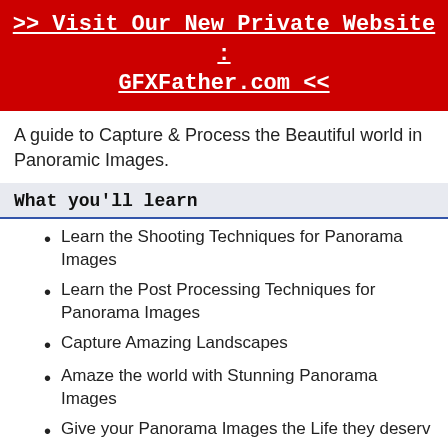>> Visit Our New Private Website : GFXFather.com <<
A guide to Capture & Process the Beautiful world in Panoramic Images.
What you'll learn
Learn the Shooting Techniques for Panorama Images
Learn the Post Processing Techniques for Panorama Images
Capture Amazing Landscapes
Amaze the world with Stunning Panorama Images
Give your Panorama Images the Life they deserv
Requirements